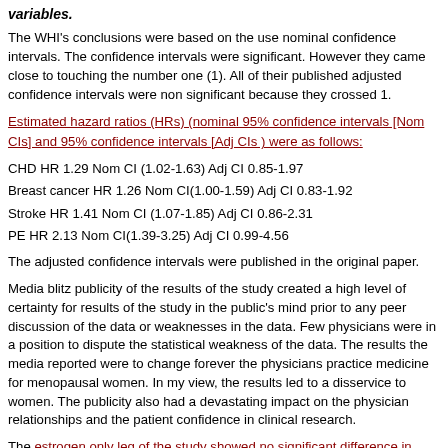variables.
The WHI's conclusions were based on the use nominal confidence intervals. The confidence intervals were significant. However they came close to touching the number one (1). All of their published adjusted confidence intervals were non significant because they crossed 1.
Estimated hazard ratios (HRs) (nominal 95% confidence intervals [Nom CIs] and 95% confidence intervals [Adj CIs ) were as follows:
CHD HR 1.29 Nom CI (1.02-1.63) Adj CI 0.85-1.97
Breast cancer HR 1.26 Nom CI(1.00-1.59) Adj CI 0.83-1.92
Stroke HR 1.41 Nom CI (1.07-1.85) Adj CI 0.86-2.31
PE HR 2.13 Nom CI(1.39-3.25) Adj CI 0.99-4.56
The adjusted confidence intervals were published in the original paper.
Media blitz publicity of the results of the study created a high level of certainty for results of the study in the public's mind prior to any peer discussion of the data or weaknesses in the data. Few physicians were in a position to dispute the statistical weakness of the data. The results the media reported were to change forever the physicians practice medicine for menopausal women. In my view, the results led to a disservice to women. The publicity also had a devastating impact on the physician relationships and the patient confidence in clinical research.
The estrogen only leg of the study showed no significant difference in breast cancer